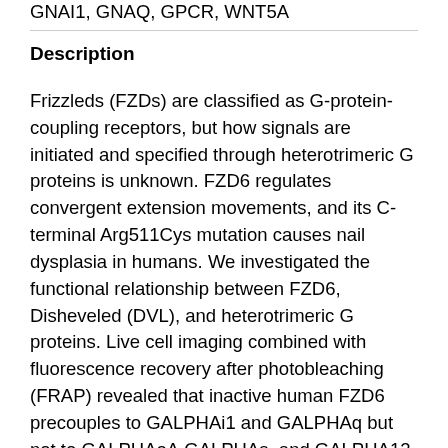GNAI1, GNAQ, GPCR, WNT5A
Description
Frizzleds (FZDs) are classified as G-protein-coupling receptors, but how signals are initiated and specified through heterotrimeric G proteins is unknown. FZD6 regulates convergent extension movements, and its C-terminal Arg511Cys mutation causes nail dysplasia in humans. We investigated the functional relationship between FZD6, Disheveled (DVL), and heterotrimeric G proteins. Live cell imaging combined with fluorescence recovery after photobleaching (FRAP) revealed that inactive human FZD6 precouples to GALPHAi1 and GALPHAq but not to GALPHAoA,GALPHAs, and GALPHA12 proteins. G-protein coupling is measured as a 10-20% reduction in the mobile fraction of fluorescently tagged G proteins on chemical receptor surface cross-linking. The FZD6 Arg511Cys mutation is incapable of G-protein precoupling, even though it still binds DVL. Using both FRAP and Förster resonance energy transfer (FRET)